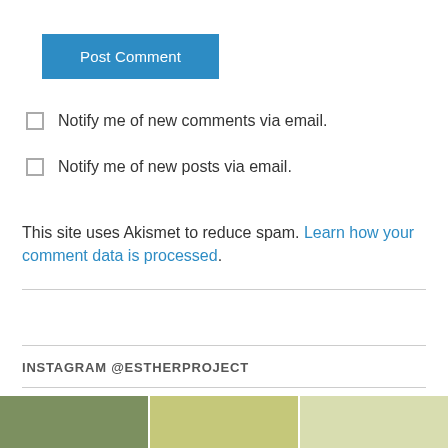[Figure (screenshot): Blue 'Post Comment' button]
Notify me of new comments via email.
Notify me of new posts via email.
This site uses Akismet to reduce spam. Learn how your comment data is processed.
INSTAGRAM @ESTHERPROJECT
[Figure (photo): Strip of outdoor/street photos at bottom of page]